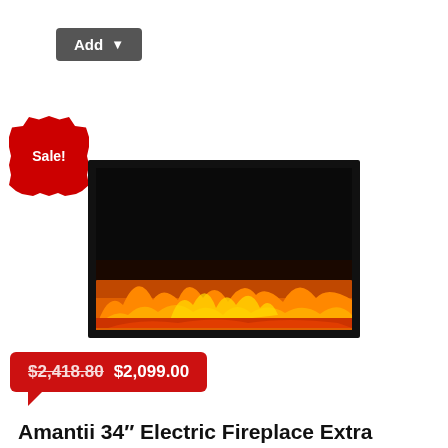Add
[Figure (other): Sale badge - red starburst shape with 'Sale!' text in white]
[Figure (photo): Amantii 34 inch electric fireplace insert with black frame showing orange and yellow flames against dark background]
$2,418.80 $2,099.00
Amantii 34″ Electric Fireplace Extra